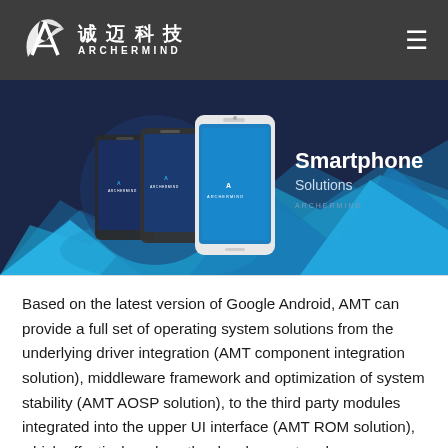诚迈科技 ARCHERMIND
[Figure (illustration): Archermind Smartphone Solutions banner showing three smartphones on a dark blue background with blue geometric mountain shapes. Text reads 'Smartphone Solutions ARCHERMIND'.]
Based on the latest version of Google Android, AMT can provide a full set of operating system solutions from the underlying driver integration (AMT component integration solution), middleware framework and optimization of system stability (AMT AOSP solution), to the third party modules integrated into the upper UI interface (AMT ROM solution), which effectively reduce the development and